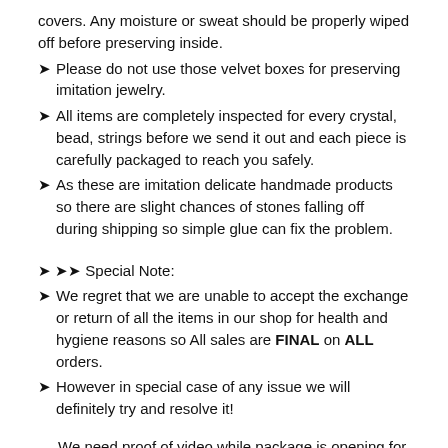covers. Any moisture or sweat should be properly wiped off before preserving inside.
Please do not use those velvet boxes for preserving imitation jewelry.
All items are completely inspected for every crystal, bead, strings before we send it out and each piece is carefully packaged to reach you safely.
As these are imitation delicate handmade products so there are slight chances of stones falling off during shipping so simple glue can fix the problem.
❧ ❧❧ Special Note:
We regret that we are unable to accept the exchange or return of all the items in our shop for health and hygiene reasons so All sales are FINAL on ALL orders.
However in special case of any issue we will definitely try and resolve it!
We need proof of video while package is opening for considering any case of missing or damaged products
❧ ❧❧ Please read our terms, conditions, and shipping info